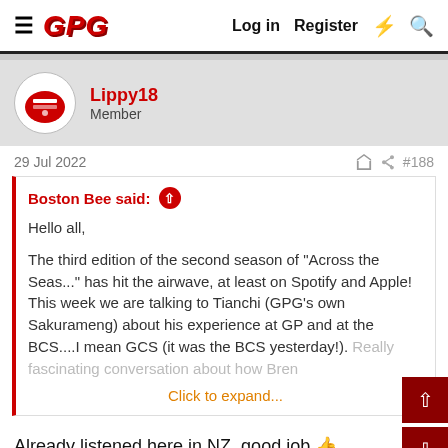GPG  Log in  Register
[Figure (logo): GPG forum logo in red italic bold text]
Lippy18
Member
29 Jul 2022  #188
Boston Bee said:
Hello all,

The third edition of the second season of "Across the Seas..." has hit the airwave, at least on Spotify and Apple! This week we are talking to Tianchi (GPG's own Sakurameng) about his experience at GP and at the BCS....I mean GCS (it was the BCS yesterday!). Really fascinating conversation about how Bren...
Click to expand...
Already listened here in NZ, good job 👍